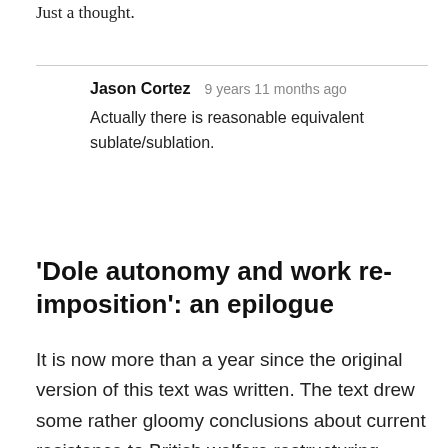Just a thought.
Jason Cortez   9 years 11 months ago
Actually there is reasonable equivalent sublate/sublation.
'Dole autonomy and work re-imposition': an epilogue
It is now more than a year since the original version of this text was written. The text drew some rather gloomy conclusions about current resistance to British welfare restructuring. Little has happened since then to contradict these conclusions.